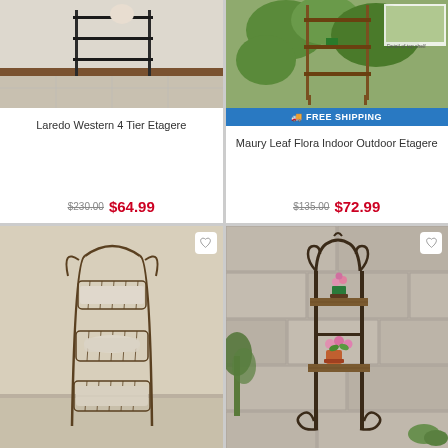[Figure (photo): Laredo Western 4 Tier Etagere product photo showing a black metal shelf unit in a room with tile flooring]
Laredo Western 4 Tier Etagere
$230.00 $64.99
[Figure (photo): Maury Leaf Flora Indoor Outdoor Etagere product photo showing a metal plant stand with greenery, with 'Detail of top shelf' inset, and FREE SHIPPING banner]
Maury Leaf Flora Indoor Outdoor Etagere
$135.00 $72.99
[Figure (photo): Three-tier wire basket etagere with towels and linens on beige background, with heart wishlist icon]
[Figure (photo): Two-tier decorative metal and wood etagere plant stand with scrollwork on stone outdoor patio with flowers, with heart wishlist icon]